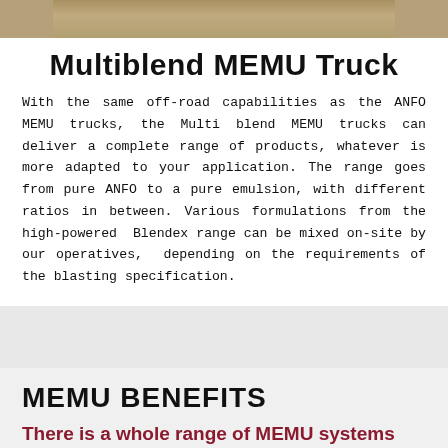[Figure (photo): Partial image of a Multiblend MEMU truck in an off-road/mining environment, cropped at the top of the page.]
Multiblend MEMU Truck
With the same off-road capabilities as the ANFO MEMU trucks, the Multi blend MEMU trucks can deliver a complete range of products, whatever is more adapted to your application. The range goes from pure ANFO to a pure emulsion, with different ratios in between. Various formulations from the high-powered Blendex range can be mixed on-site by our operatives, depending on the requirements of the blasting specification.
MEMU BENEFITS
There is a whole range of MEMU systems